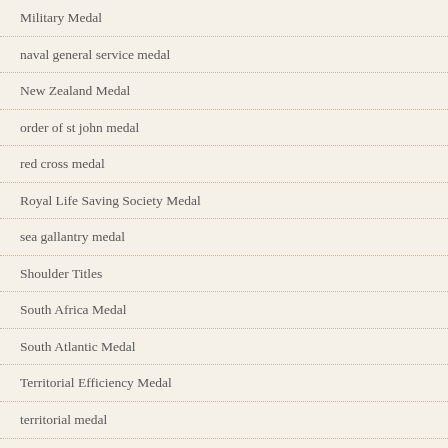Military Medal
naval general service medal
New Zealand Medal
order of st john medal
red cross medal
Royal Life Saving Society Medal
sea gallantry medal
Shoulder Titles
South Africa Medal
South Atlantic Medal
Territorial Efficiency Medal
territorial medal
trafalgar medal
Uncategorized
United Nations Medal
US Presidential Citation